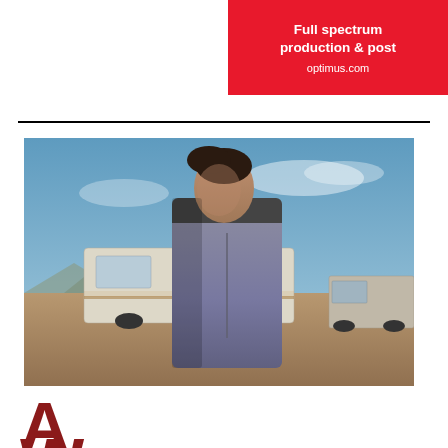[Figure (other): Red advertisement box for Optimus with white text reading 'Full spectrum production & post' and 'optimus.com']
[Figure (photo): A woman in a gray hoodie stands in an outdoor desert setting in front of a white/beige RV camper van. Blue sky with light clouds in background. Another vehicle visible to the right.]
A
W